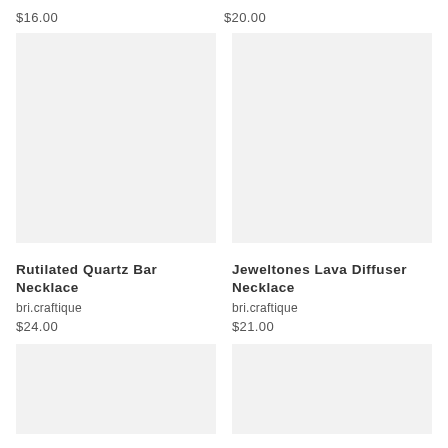$16.00
$20.00
[Figure (photo): Product image placeholder for Rutilated Quartz Bar Necklace]
[Figure (photo): Product image placeholder for Jeweltones Lava Diffuser Necklace]
Rutilated Quartz Bar Necklace
Jeweltones Lava Diffuser Necklace
bri.craftique
bri.craftique
$24.00
$21.00
[Figure (photo): Product image placeholder (bottom left)]
[Figure (photo): Product image placeholder (bottom right)]